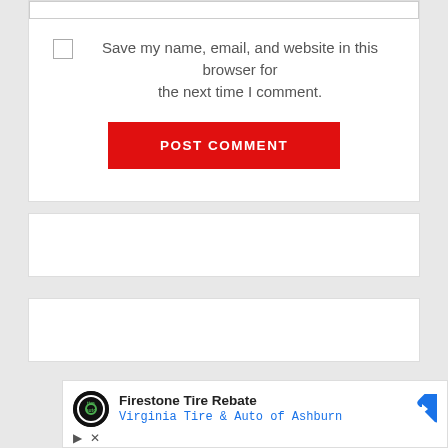Save my name, email, and website in this browser for the next time I comment.
[Figure (screenshot): POST COMMENT button — red rectangle with white uppercase text]
[Figure (screenshot): Empty white card widget area 1]
[Figure (screenshot): Empty white card widget area 2]
[Figure (screenshot): Advertisement: Firestone Tire Rebate - Virginia Tire & Auto of Ashburn, with logo and navigation arrow icon]